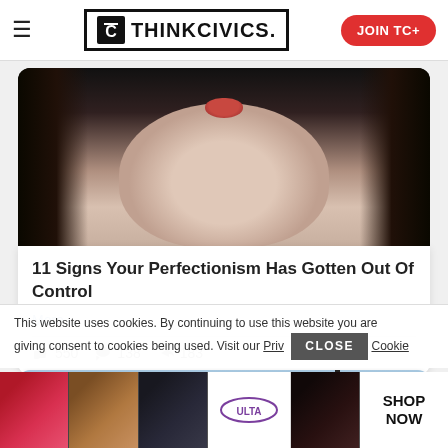ThinkCivics. | JOIN TC+
[Figure (photo): Close-up photo of a person's face making a pouty/kissing face, with dark hair on sides, skin-toned face, and red/pink lips puckered up]
11 Signs Your Perfectionism Has Gotten Out Of Control
More...
550  138  183
[Figure (photo): Partial photo showing two people outdoors with sky and greenery in background, with a dark vertical divider on right side]
This website uses cookies. By continuing to use this website you are giving consent to cookies being used. Visit our Priv Cookie
[Figure (screenshot): Ad banner for ULTA beauty products showing lips, makeup brush, eye, ULTA logo, more eye images, with SHOP NOW call to action]